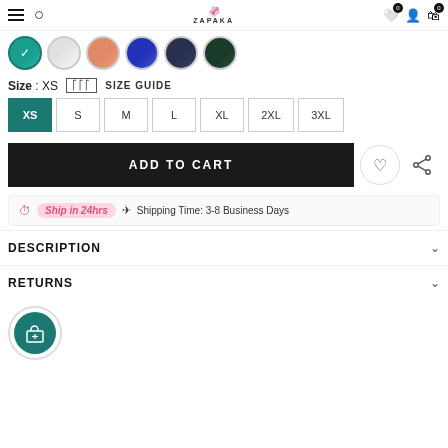ZAPAKA navigation bar with hamburger menu, search, logo, wishlist (0), account, cart (0)
[Figure (screenshot): Row of circular color swatch thumbnails: teal (selected with checkmark), white/grey, salmon/pink, blue, navy, dark green]
Size : XS   [SIZE GUIDE icon]  SIZE GUIDE
Size buttons: XS (selected, teal), S, M, L, XL, 2XL, 3XL
ADD TO CART
Ship in 24hrs   Shipping Time: 3-8 Business Days
DESCRIPTION
RETURNS
[Figure (logo): Circular teal icon with gift/present symbol]